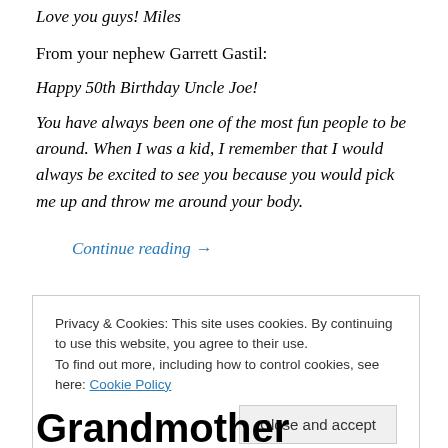Love you guys! Miles
From your nephew Garrett Gastil:
Happy 50th Birthday Uncle Joe!
You have always been one of the most fun people to be around. When I was a kid, I remember that I would always be excited to see you because you would pick me up and throw me around your body.
Continue reading →
Privacy & Cookies: This site uses cookies. By continuing to use this website, you agree to their use. To find out more, including how to control cookies, see here: Cookie Policy
Close and accept
Grandmother